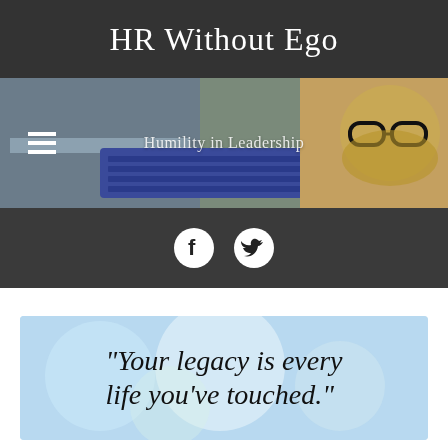HR Without Ego
[Figure (photo): Hero banner image showing a person working at a laptop keyboard with a dog wearing glasses on the right side. Subtitle text reads 'Humility in Leadership'.]
[Figure (infographic): Dark bar with Facebook and Twitter social media icons.]
[Figure (illustration): Light blue bokeh background with large cursive script text reading: "Your legacy is every life you've touched."]
Advertisements
[Figure (screenshot): Advertisement banner for WordPress hosting: 'WORDPRESS HOSTING THAT MEANS BUSINESS.' with a 'P' logo and an OPEN sign photo.]